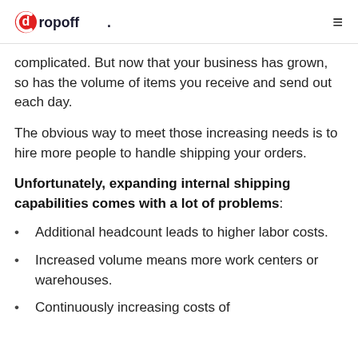dropoff [logo] [hamburger menu]
complicated. But now that your business has grown, so has the volume of items you receive and send out each day.
The obvious way to meet those increasing needs is to hire more people to handle shipping your orders.
Unfortunately, expanding internal shipping capabilities comes with a lot of problems:
Additional headcount leads to higher labor costs.
Increased volume means more work centers or warehouses.
Continuously increasing costs of…